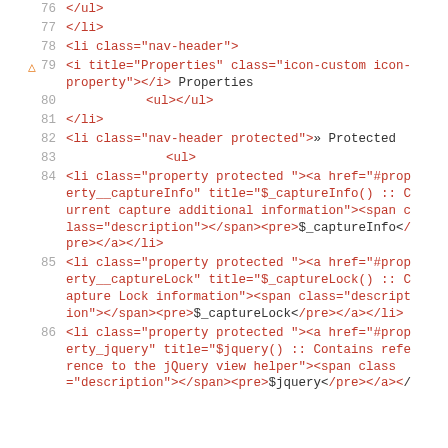[Figure (screenshot): Source code view showing HTML/template lines 76-86 with line numbers in gray, HTML tags in red, and plain text in dark color. Line 79 has a warning triangle icon. The code shows navigation list items including nav-header for Properties and nav-header protected for Protected, with property list items for $_captureInfo, $_captureLock, and $jquery.]